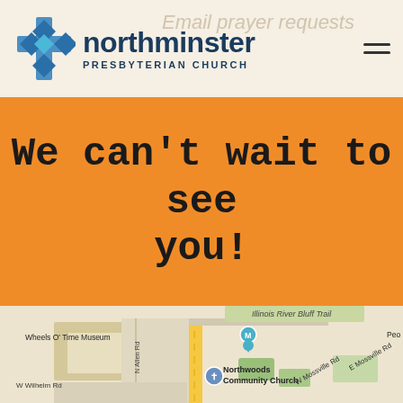northminster PRESBYTERIAN CHURCH
We can't wait to see you!
[Figure (map): Google Maps view showing the area around Northminster Presbyterian Church, with streets including N Allen Rd, W Wilhelm Rd, W Mossville Rd, E Mossville Rd, Illinois River Bluff Trail, and landmarks including Wheels O' Time Museum and Northwoods Community Church.]